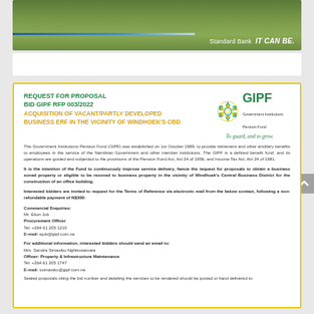[Figure (photo): Green grass/turf background banner with Standard Bank 'IT CAN BE.' branding and a blue-to-white gradient stripe]
REQUEST FOR PROPOSAL
BID GIPF RFP 003/2022
ACQUISITION OF VACANT/PARTLY DEVELOPED BUSINESS ERF IN THE VICINITY OF WINDHOEK'S CBD
[Figure (logo): GIPF Government Institutions Pension Fund logo with hexagonal pattern and tagline 'To guard, and to grow.']
The Government Institutions Pension Fund (GIPF) was established on 1st October 1989, to provide retirement and other ancillary benefits to employees in the service of the Namibian Government and other member institutions. The GIPF is a defined benefit fund, and its operations are guided and subjected to the provisions of the Pension Fund Act, Act 24 of 1956, and Income Tax Act, Act 24 of 1981.
It is the intention of the Fund to continuously improve service delivery, hence the request for proposals to obtain a business zoned property or eligible to be rezoned to business property in the vicinity of Windhoek's Central Business District for the construction of an office building.
Interested bidders are invited to request for the Terms of Reference via electronic mail from the below contact, following a non-refundable payment of N$300:
Commercial Enquiries:
Mr. Elton Job
Procurement Officer
Tel: +264 61 205 1210
E-mail: ejob@gipf.com.na
For additional information, interested bidders should send an email to:
Mrs. Sandra Simasiku-Nghituwamata
Officer: Property & Infrastructure Maintenance
Tel: +264 61 205 1747
E-mail: ssimasiku@gipf.com.na
Sealed proposals citing the bid number and detailing the services to be rendered should be posted or hand delivered to: